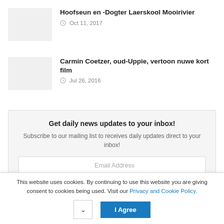Hoofseun en -Dogter Laerskool Mooirivier
Oct 11, 2017
Carmin Coetzer, oud-Uppie, vertoon nuwe kort film
Jul 26, 2016
Get daily news updates to your inbox!
Subscribe to our mailing list to receives daily updates direct to your inbox!
Email Address
This website uses cookies. By continuing to use this website you are giving consent to cookies being used. Visit our Privacy and Cookie Policy.
I Agree